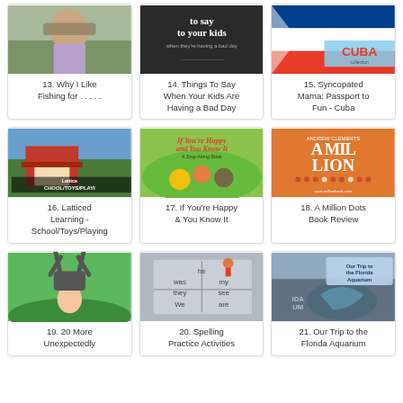[Figure (photo): Person in outdoor fishing gear, purple shirt]
13. Why I Like Fishing for . . . . .
[Figure (photo): Dark background book cover with text 'to say to your kids when they're having a bad day']
14. Things To Say When Your Kids Are Having a Bad Day
[Figure (photo): Cuba flag and 'CUBA' text on book cover]
15. Syncopated Mama: Passport to Fun - Cuba
[Figure (photo): Red schoolhouse building with text overlay about School/Toys/Playing]
16. Latticed Learning - School/Toys/Playing
[Figure (photo): If You're Happy and You Know It book cover, children's sing-along book with animal illustrations]
17. If You're Happy & You Know It
[Figure (photo): A Million Dots book cover by Andrew Clements, orange cover with dots pattern]
18. A Million Dots Book Review
[Figure (photo): Child doing a cartwheel or handstand on green grass]
19. 20 More Unexpectedly
[Figure (photo): Sidewalk chalk spelling words on pavement - 'he, she, was, my, they, see, We, are']
20. Spelling Practice Activities
[Figure (photo): Florida Aquarium sign and logo, 'Our Trip to the Florida Aquarium' text overlay]
21. Our Trip to the Florida Aquarium